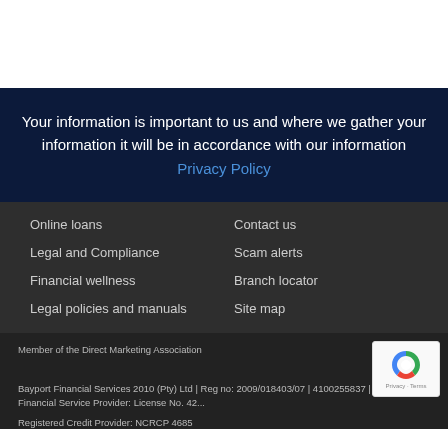Your information is important to us and where we gather your information it will be in accordance with our information Privacy Policy
Online loans
Contact us
Legal and Compliance
Scam alerts
Financial wellness
Branch locator
Legal policies and manuals
Site map
Member of the Direct Marketing Association

Bayport Financial Services 2010 (Pty) Ltd | Reg no: 2009/018403/07 | 4100255837 | Authorized Financial Service Provider: License No. 42... | Registered Credit Provider: NCRCP 4685